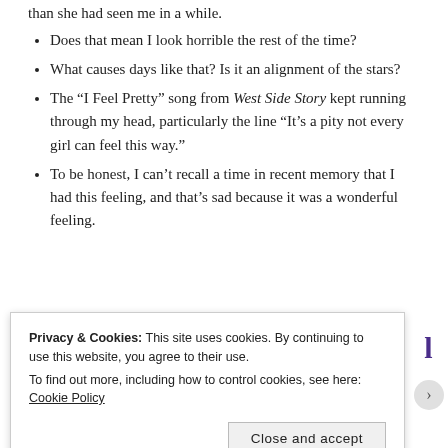than she had seen me in a while.
Does that mean I look horrible the rest of the time?
What causes days like that? Is it an alignment of the stars?
The “I Feel Pretty” song from West Side Story kept running through my head, particularly the line “It’s a pity not every girl can feel this way.”
To be honest, I can’t recall a time in recent memory that I had this feeling, and that’s sad because it was a wonderful feeling.
Privacy & Cookies: This site uses cookies. By continuing to use this website, you agree to their use. To find out more, including how to control cookies, see here: Cookie Policy
Close and accept